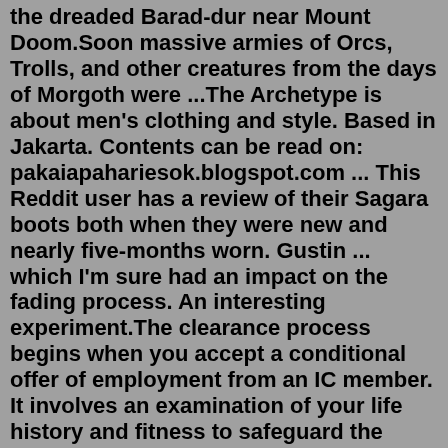the dreaded Barad-dur near Mount Doom.Soon massive armies of Orcs, Trolls, and other creatures from the days of Morgoth were ...The Archetype is about men's clothing and style. Based in Jakarta. Contents can be read on: pakaiapahariesok.blogspot.com ... This Reddit user has a review of their Sagara boots both when they were new and nearly five-months worn. Gustin ... which I'm sure had an impact on the fading process. An interesting experiment.The clearance process begins when you accept a conditional offer of employment from an IC member. It involves an examination of your life history and fitness to safeguard the nation's secrets. Think of this process as the first step in building a bridge of trust between you and the IC. Candor is an essential ingredient in the establishment of ...2022. 8. 10. · "The Emotionally Absent Mother" will help you understand what was missing from your childhood, how this relates to your mother s own history, and how you can fill the mother gap by: * Examining the past with compassion for